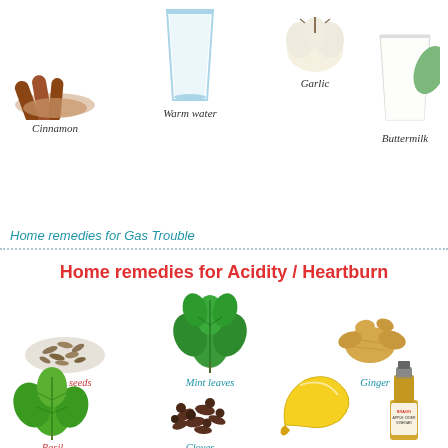[Figure (infographic): Home remedies infographic showing ingredients: cinnamon sticks, warm water glass, garlic cloves, buttermilk glass in top row; then Home remedies for Gas Trouble heading; then Home remedies for Acidity/Heartburn title with cumin seeds, mint leaves, ginger, basil, cloves, banana, apple cider vinegar images with labels]
Cinnamon
Warm water
Garlic
Buttermilk
Home remedies for Gas Trouble
Home remedies for Acidity / Heartburn
Cumin seeds
Mint leaves
Ginger
Basil
Cloves
Apple cider vinegar
Banana